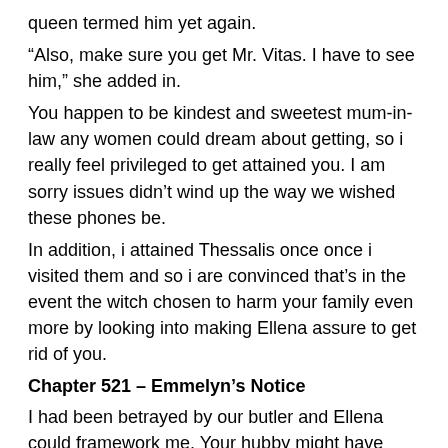queen termed him yet again.
“Also, make sure you get Mr. Vitas. I have to see him,” she added in.
You happen to be kindest and sweetest mum-in-law any women could dream about getting, so i really feel privileged to get attained you. I am sorry issues didn’t wind up the way we wished these phones be.
In addition, i attained Thessalis once once i visited them and so i are convinced that’s in the event the witch chosen to harm your family even more by looking into making Ellena assure to get rid of you.
Chapter 521 – Emmelyn’s Notice
I had been betrayed by our butler and Ellena could framework me. Your hubby might have destroyed me should i wasn’t expectant that has a noble baby.
————.
You are the kindest and sweetest mommy-in-laws any women could desire having, plus i sense fortunate to obtain met you. I am sorry things didn’t finish up the way we wished for them to